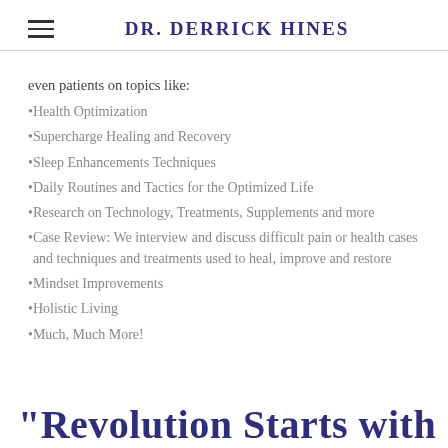DR. DERRICK HINES
even patients on topics like:
Health Optimization
Supercharge Healing and Recovery
Sleep Enhancements Techniques
Daily Routines and Tactics for the Optimized Life
Research on Technology, Treatments, Supplements and more
Case Review: We interview and discuss difficult pain or health cases and techniques and treatments used to heal, improve and restore
Mindset Improvements
Holistic Living
Much, Much More!
"Revolution Starts with